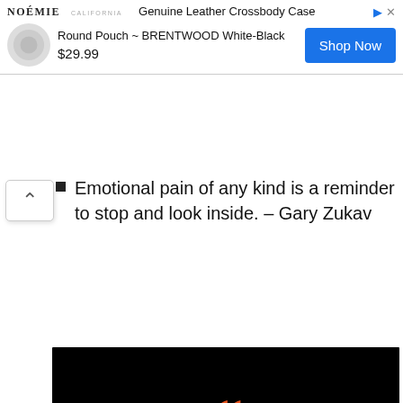[Figure (screenshot): Advertisement banner for NOÉMIE Genuine Leather Crossbody Case - Round Pouch BRENTWOOD White-Black priced at $29.99 with a Shop Now button]
Emotional pain of any kind is a reminder to stop and look inside. – Gary Zukav
[Figure (illustration): Black background quote card with large orange opening quotation marks and white serif text reading: Emotional pain of any kind is a reminder to stop and look inside. With a chevron up symbol in the bottom right.]